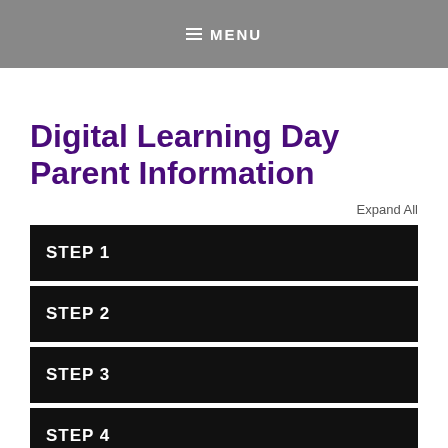MENU
Digital Learning Day Parent Information
Expand All
STEP 1
STEP 2
STEP 3
STEP 4